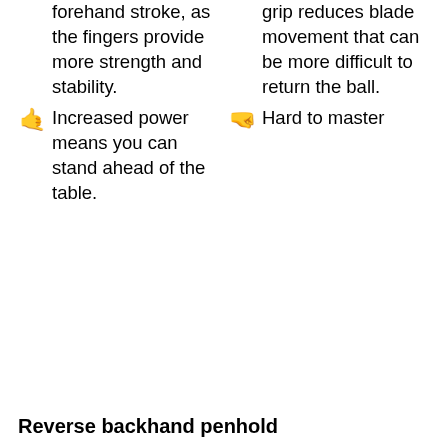forehand stroke, as the fingers provide more strength and stability.
grip reduces blade movement that can be more difficult to return the ball.
Increased power means you can stand ahead of the table.
Hard to master
Reverse backhand penhold